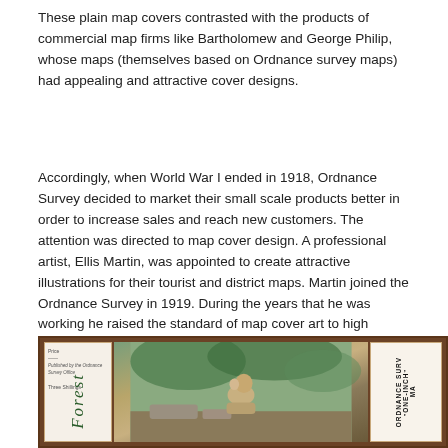These plain map covers contrasted with the products of commercial map firms like Bartholomew and George Philip, whose maps (themselves based on Ordnance survey maps) had appealing and attractive cover designs.
Accordingly, when World War I ended in 1918, Ordnance Survey decided to market their small scale products better in order to increase sales and reach new customers. The attention was directed to map cover design. A professional artist, Ellis Martin, was appointed to create attractive illustrations for their tourist and district maps. Martin joined the Ordnance Survey in 1919. During the years that he was working he raised the standard of map cover art to high levels.
[Figure (photo): A photograph of an Ordnance Survey map cover featuring an illustration of a person resting outdoors, with decorative brown frame. Left panel shows 'Forest' text vertically with price information. Right panel shows 'Ordnance Survey One-Inch Map' text vertically. A survey popup overlay reads 'Take part in our survey!' with a blue 'Reply' button.]